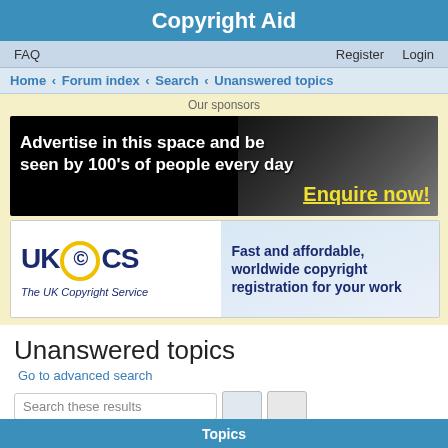Copyright Aid
FAQ   Register   Login
Home › Forum index › Search › Unanswered topics
Our sponsors
[Figure (illustration): Advertisement banner: 'Advertise in this space and be seen by 100's of people every day – Enquire now!']
[Figure (logo): UK Copyright Service (UKCCS) ad: 'Fast and affordable, worldwide copyright registration for your work']
Unanswered topics
Go to advanced search
Search these results
Search found 57 matches  1  2
Topics